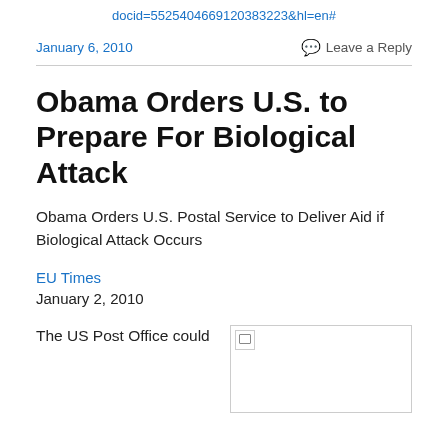docid=5525404669120383223&hl=en#
January 6, 2010
Leave a Reply
Obama Orders U.S. to Prepare For Biological Attack
Obama Orders U.S. Postal Service to Deliver Aid if Biological Attack Occurs
EU Times
January 2, 2010
The US Post Office could
[Figure (photo): Broken/missing image placeholder]